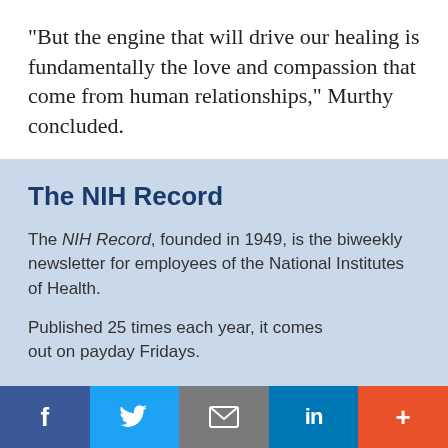“But the engine that will drive our healing is fundamentally the love and compassion that come from human relationships,” Murthy concluded.
The NIH Record
The NIH Record, founded in 1949, is the biweekly newsletter for employees of the National Institutes of Health.
Published 25 times each year, it comes out on payday Fridays.
Social share bar: Facebook, Twitter, Email, LinkedIn, More